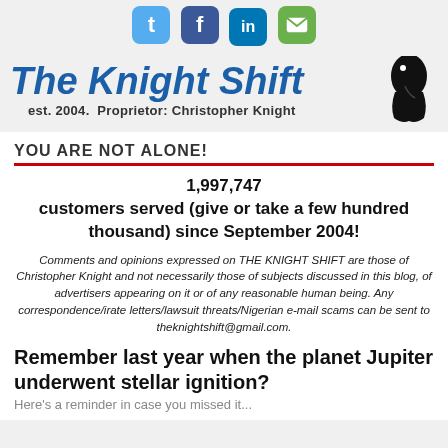[Figure (infographic): Social media icon buttons: Twitter (blue bird), Facebook (blue f), LinkedIn (blue in), Email (green envelope)]
The Knight Shift
est. 2004.  Proprietor: Christopher Knight
YOU ARE NOT ALONE!
1,997,747 customers served (give or take a few hundred thousand) since September 2004!
Comments and opinions expressed on THE KNIGHT SHIFT are those of Christopher Knight and not necessarily those of subjects discussed in this blog, of advertisers appearing on it or of any reasonable human being. Any correspondence/irate letters/lawsuit threats/Nigerian e-mail scams can be sent to theknightshift@gmail.com.
Remember last year when the planet Jupiter underwent stellar ignition?
Here's a reminder in case you missed it...